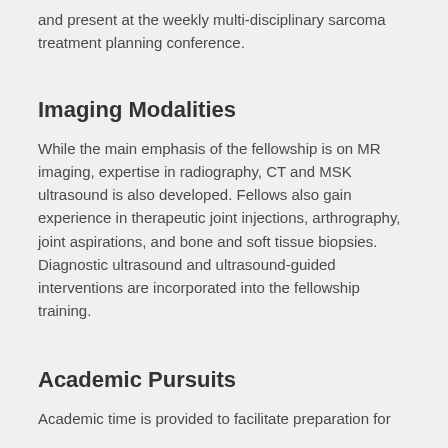and present at the weekly multi-disciplinary sarcoma treatment planning conference.
Imaging Modalities
While the main emphasis of the fellowship is on MR imaging, expertise in radiography, CT and MSK ultrasound is also developed. Fellows also gain experience in therapeutic joint injections, arthrography, joint aspirations, and bone and soft tissue biopsies. Diagnostic ultrasound and ultrasound-guided interventions are incorporated into the fellowship training.
Academic Pursuits
Academic time is provided to facilitate preparation for